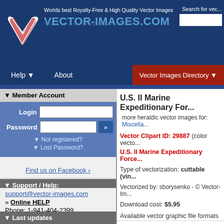[Figure (logo): Vector-Images.com website header with logo and tagline: Worlds best Royalty-Free & High Quality Vector Images]
Search for vec...
Help ▲   About   Vector Images Directory ▲
◄ Member Account
Login [input field]
Password [input field] [button]
◄ Not registered?
◄ Lost Password?
Find us on Facebook ›
◄ Support / Help:
support@vector-images.com
»» Online HELP
Phone: 1-941-404-2399
(7:00 am - 3:00 pm EST)
Toll Free Fax: 1-866-595-7259
◄ Last updates
U.S. II Marine Expeditionary For...
more heraldic vector images for: Miscella...
Vector Clipart ID: 29887 (color vecto...
U.S. II Marine Expeditionary Force...
Type of vectorization: cuttable (vin...
Vectorized by: sborysenko - © Vector-Im...
Download cost: $5.95
Available vector graphic file formats
| Format |
| --- |
| EPS |
| CDR |
| JPEG/JPG** |